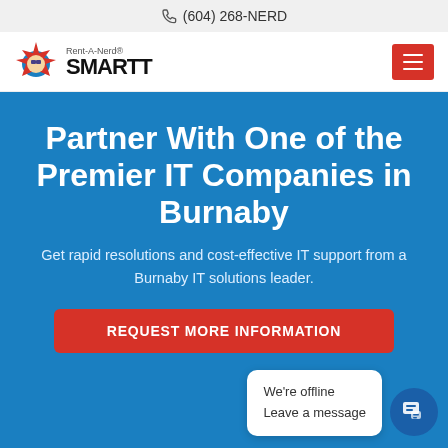(604) 268-NERD
[Figure (logo): Rent-A-Nerd and SMARTT logo with maple leaf icon and hamburger menu button]
Partner With One of the Premier IT Companies in Burnaby
Get rapid resolutions and cost-effective IT support from a Burnaby IT solutions leader.
REQUEST MORE INFORMATION
We're offline
Leave a message